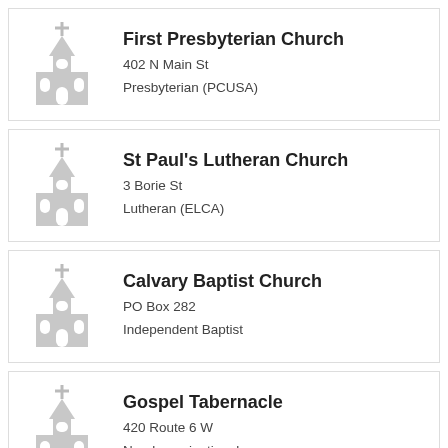[Figure (illustration): Grey church icon for First Presbyterian Church]
First Presbyterian Church
402 N Main St
Presbyterian (PCUSA)
[Figure (illustration): Grey church icon for St Paul's Lutheran Church]
St Paul's Lutheran Church
3 Borie St
Lutheran (ELCA)
[Figure (illustration): Grey church icon for Calvary Baptist Church]
Calvary Baptist Church
PO Box 282
Independent Baptist
[Figure (illustration): Grey church icon for Gospel Tabernacle]
Gospel Tabernacle
420 Route 6 W
Nondenominational